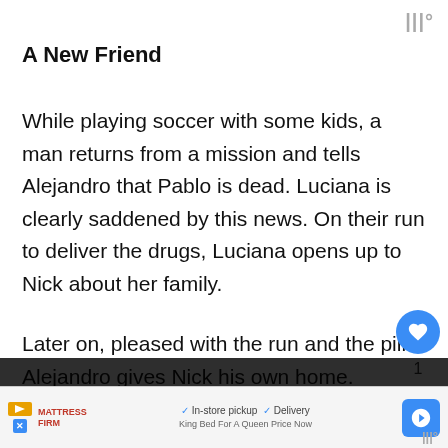|||°
A New Friend
While playing soccer with some kids, a man returns from a mission and tells Alejandro that Pablo is dead. Luciana is clearly saddened by this news. On their run to deliver the drugs, Luciana opens up to Nick about her family.
Later on, pleased with the run and the pills Alejandro gives Nick his own home. studying some Spanish, Luciana stops by.
[Figure (screenshot): UI overlay showing a heart/like button (blue circle with heart icon), count of 1, and a share button below it on the right side of the page]
[Figure (screenshot): "WHAT'S NEXT" promo card showing a Netflix thumbnail with text '10 Jason Statham...']
[Figure (screenshot): Advertisement bar at bottom: Mattress Firm ad with 'In-store pickup' and 'Delivery' checkmarks, navigation arrow icon, and 'King Bed For A Queen Price Now' text]
|||°